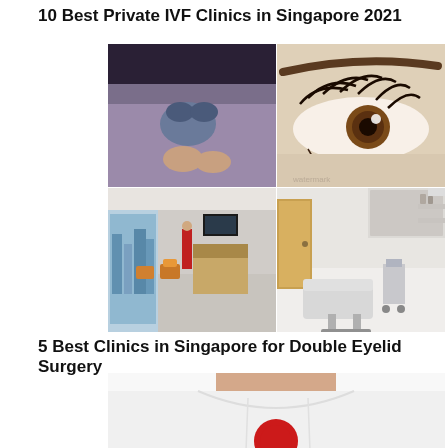10 Best Private IVF Clinics in Singapore 2021
[Figure (photo): Collage of four medical/clinic photos: top-left a surgeon in operating room, top-right a close-up of a human eye, bottom-left a modern medical waiting room with city view, bottom-right a medical exam room with chair and equipment]
5 Best Clinics in Singapore for Double Eyelid Surgery
[Figure (photo): Partial photo of a woman in a white t-shirt with a red design, showing from neck to chest area]